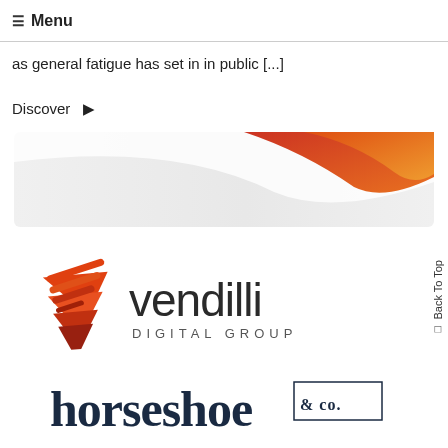☰ Menu
as general fatigue has set in in public [...]
Discover →
[Figure (illustration): Abstract swoosh banner with orange-red gradient on white/light grey background]
[Figure (logo): Vendilli Digital Group logo with orange stacked chevron/triangle icon and dark grey text]
[Figure (logo): horseshoe & co. logo in dark navy bold serif font with overline above '& co.']
Back To Top ↑